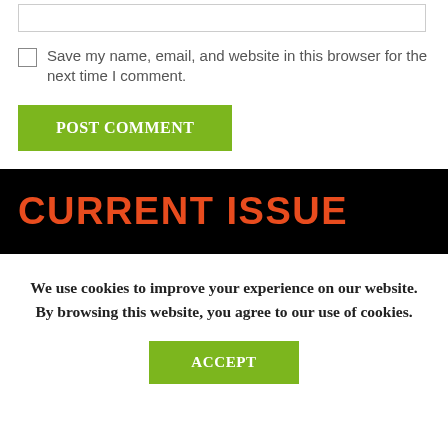Save my name, email, and website in this browser for the next time I comment.
POST COMMENT
CURRENT ISSUE
We use cookies to improve your experience on our website. By browsing this website, you agree to our use of cookies.
ACCEPT